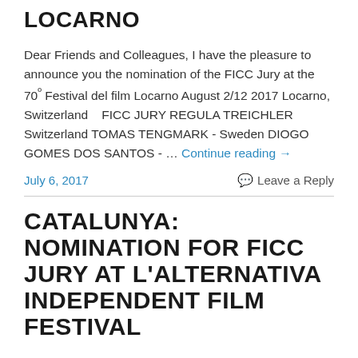LOCARNO
Dear Friends and Colleagues, I have the pleasure to announce you the nomination of the FICC Jury at the 70º Festival del film Locarno August 2/12 2017 Locarno, Switzerland   FICC JURY REGULA TREICHLER Switzerland TOMAS TENGMARK - Sweden DIOGO GOMES DOS SANTOS - … Continue reading →
July 6, 2017  Leave a Reply
CATALUNYA: NOMINATION FOR FICC JURY AT L'ALTERNATIVA INDEPENDENT FILM FESTIVAL